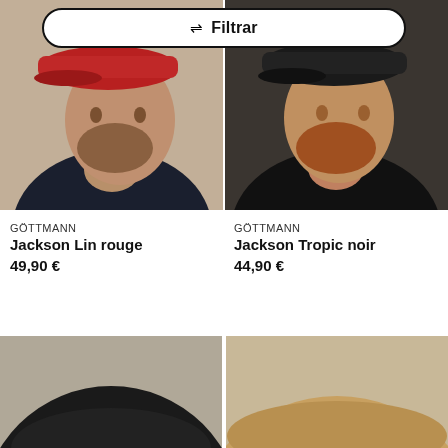≡ Filtrar
[Figure (photo): Man wearing a red flat cap, side profile, dark navy t-shirt, beige background (Göttmann Jackson Lin rouge)]
[Figure (photo): Man wearing a black flat cap, side profile, black t-shirt, dark background (Göttmann Jackson Tropic noir)]
GÖTTMANN
Jackson Lin rouge
49,90 €
GÖTTMANN
Jackson Tropic noir
44,90 €
[Figure (photo): Black flat cap, top-down partial view, beige/grey background]
[Figure (photo): Tan/beige woven flat cap, partial view, beige background]